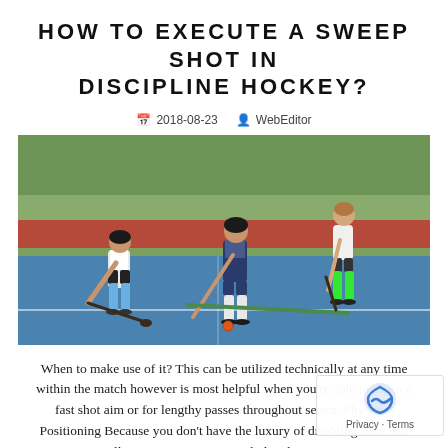HOW TO EXECUTE A SWEEP SHOT IN DISCIPLINE HOCKEY?
2018-08-23   WebEditor
[Figure (photo): Three female field hockey players on a blue artificial turf field. Two players are competing for the ball (an orange ball) with hockey sticks low to the ground, while a third player runs in the background. Players wear white/blue and navy/white uniforms; one player has bright green socks.]
When to make use of it? This can be utilized technically at any time within the match however is most helpful when you're able to attain a fast shot aim or for lengthy passes throughout sector. Physique Positioning Because you don't have the luxury of dribbling time that allows you to get snug with the place, it's a